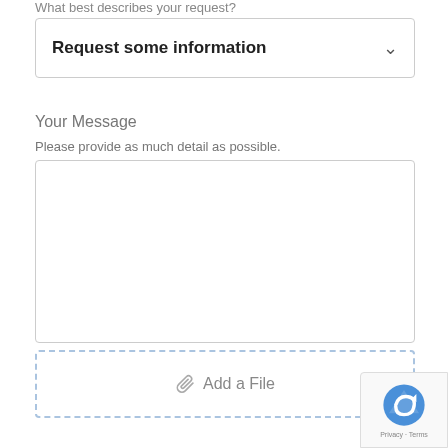What best describes your request?
Request some information
Your Message
Please provide as much detail as possible.
Add a File